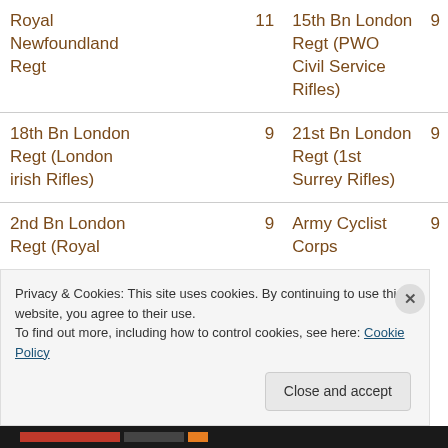| Regiment | Count | Regiment | Count |
| --- | --- | --- | --- |
| Royal Newfoundland Regt | 11 | 15th Bn London Regt (PWO Civil Service Rifles) | 9 |
| 18th Bn London Regt (London irish Rifles) | 9 | 21st Bn London Regt (1st Surrey Rifles) | 9 |
| 2nd Bn London Regt (Royal ... | 9 | Army Cyclist Corps | 9 |
Privacy & Cookies: This site uses cookies. By continuing to use this website, you agree to their use.
To find out more, including how to control cookies, see here: Cookie Policy
Close and accept